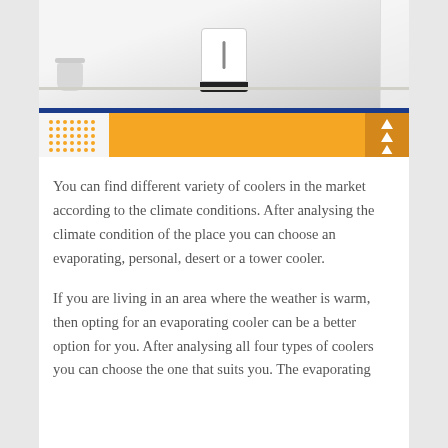[Figure (photo): Photo of a white room with a white air cooler/dehumidifier appliance on a stand, a plant pot on the left, curtains on the right, light wood floor.]
You can find different variety of coolers in the market according to the climate conditions. After analysing the climate condition of the place you can choose an evaporating, personal, desert or a tower cooler.
If you are living in an area where the weather is warm, then opting for an evaporating cooler can be a better option for you. After analysing all four types of coolers you can choose the one that suits you. The evaporating